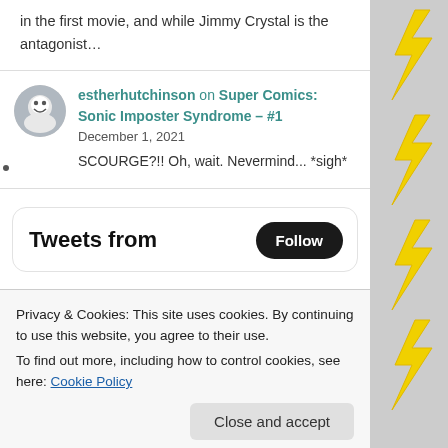in the first movie, and while Jimmy Crystal is the antagonist…
estherhutchinson on Super Comics: Sonic Imposter Syndrome – #1
December 1, 2021
SCOURGE?!! Oh, wait. Nevermind... *sigh*
Tweets from
Privacy & Cookies: This site uses cookies. By continuing to use this website, you agree to their use.
To find out more, including how to control cookies, see here: Cookie Policy
Close and accept
week to get the recourse to buy a thing